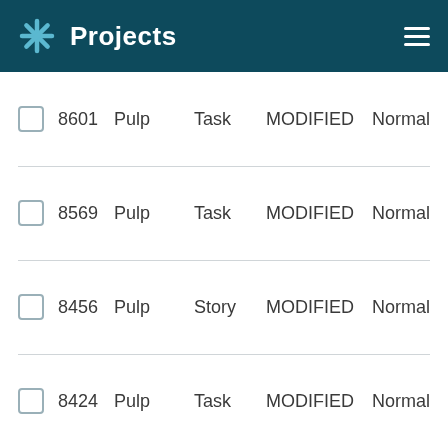Projects
8601  Pulp  Task  MODIFIED  Normal
8569  Pulp  Task  MODIFIED  Normal
8456  Pulp  Story  MODIFIED  Normal
8424  Pulp  Task  MODIFIED  Normal